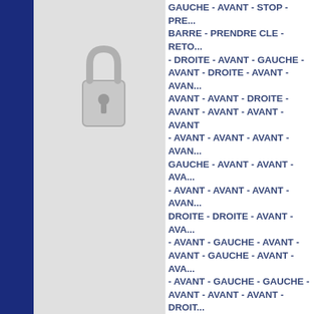[Figure (illustration): Lock/key icon illustration on gray panel background]
GAUCHE - AVANT - STOP - PRE... BARRE - PRENDRE CLE - RETO... - DROITE - AVANT - GAUCHE - AVANT - DROITE - AVANT - AVAN... AVANT - AVANT - DROITE - AVANT - AVANT - AVANT - AVANT - AVANT - AVANT - AVANT - AVAN... GAUCHE - AVANT - AVANT - AVA... - AVANT - AVANT - AVANT - AVAN... DROITE - DROITE - AVANT - AVA... - AVANT - GAUCHE - AVANT - AVANT - GAUCHE - AVANT - AVA... - AVANT - GAUCHE - GAUCHE - AVANT - AVANT - AVANT - DROIT... - AVANT - AVANT - AVANT - AVANT - GAUCHE - AVANT - AVA... - GAUCHE - AVANT - AVANT - AVANT - AVANT - AVANT - AVANT STOP - UTILISER CLE - DROITE STOP - PRENDRE CUBE - RETO... RETOUR - STOP - UTLISER CUB... GAUCHE - STOP - UTILISER BARRE - PRE...